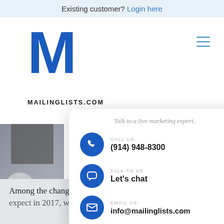Existing customer? Login here
M MAILINGLISTS.COM
[Figure (screenshot): Popup contact card from mailinglists.com with phone, chat, and email options]
Talk to a live marketing expert.
CALL US (914) 948-8300
TALK TO US Let's chat
EMAIL US info@mailinglists.com
Among the changes direct mail marketers can expect in 2017, will be the latest 5-year update to